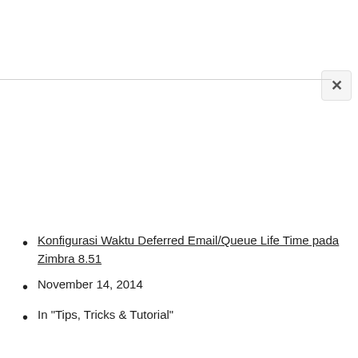[Figure (other): Close button (X) in top right corner of a modal/popup dialog]
Konfigurasi Waktu Deferred Email/Queue Life Time pada Zimbra 8.51
November 14, 2014
In "Tips, Tricks & Tutorial"